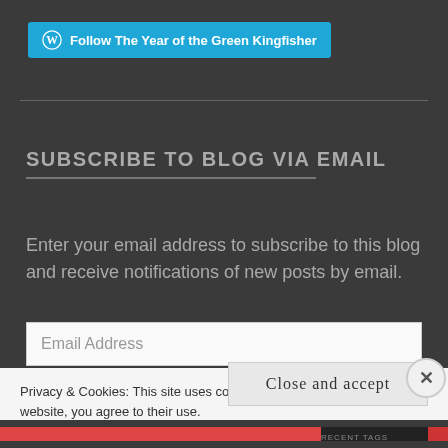[Figure (other): WordPress Follow button: 'Follow The Year of the Green Kingfisher' with WordPress logo icon on blue background]
SUBSCRIBE TO BLOG VIA EMAIL
Enter your email address to subscribe to this blog and receive notifications of new posts by email.
Email Address
Privacy & Cookies: This site uses cookies. By continuing to use this website, you agree to their use.
To find out more, including how to control cookies, see here: Cookie Policy
Close and accept